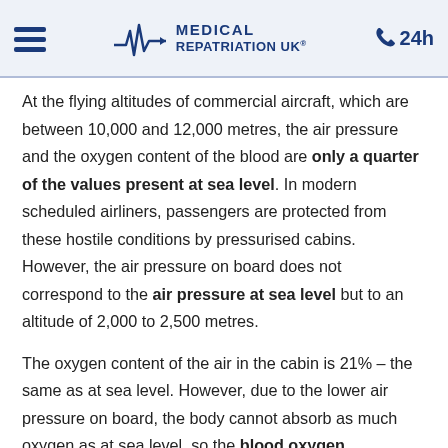Medical Repatriation UK — 24h
At the flying altitudes of commercial aircraft, which are between 10,000 and 12,000 metres, the air pressure and the oxygen content of the blood are only a quarter of the values present at sea level. In modern scheduled airliners, passengers are protected from these hostile conditions by pressurised cabins. However, the air pressure on board does not correspond to the air pressure at sea level but to an altitude of 2,000 to 2,500 metres.
The oxygen content of the air in the cabin is 21% – the same as at sea level. However, due to the lower air pressure on board, the body cannot absorb as much oxygen as at sea level, so the blood oxygen